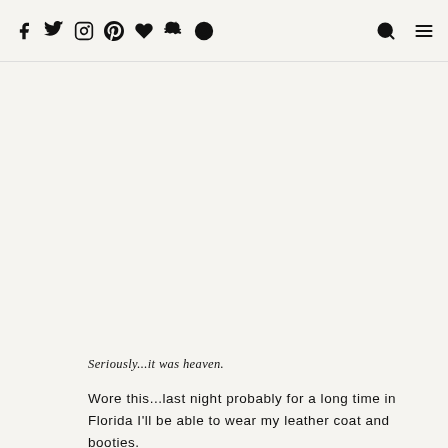f  twitter  instagram  pinterest  heart  snapchat  target  [search]  [menu]
[Figure (photo): Large blank/white image area occupying most of the page (photo not loaded)]
Seriously...it was heaven.
Wore this...last night probably for a long time in Florida I'll be able to wear my leather coat and booties.